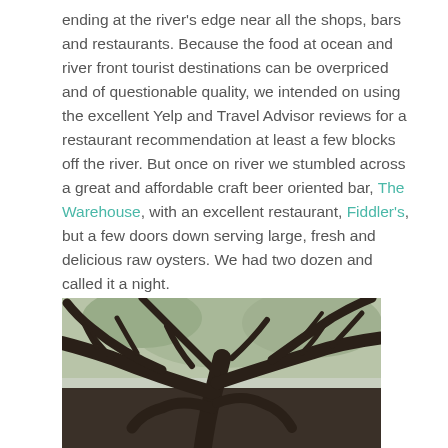ending at the river's edge near all the shops, bars and restaurants. Because the food at ocean and river front tourist destinations can be overpriced and of questionable quality, we intended on using the excellent Yelp and Travel Advisor reviews for a restaurant recommendation at least a few blocks off the river. But once on river we stumbled across a great and affordable craft beer oriented bar, The Warehouse, with an excellent restaurant, Fiddler's, but a few doors down serving large, fresh and delicious raw oysters. We had two dozen and called it a night.
[Figure (photo): Photo of large oak tree branches with twisted limbs spreading across the frame against a light sky with some green foliage visible.]